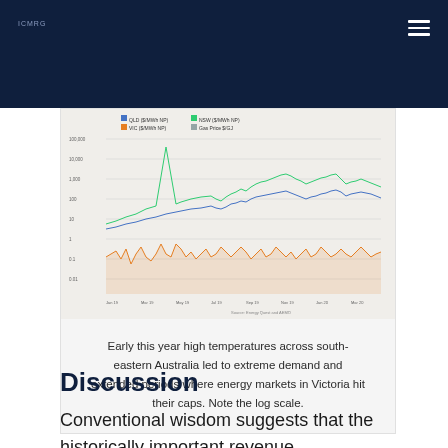[Figure (continuous-plot): Multi-line chart showing energy market prices in Victoria, Australia over time on a log scale. Lines include QLD, NSW, VIC, and SA markets. A sharp spike is visible in early part of the year. Source: Energy Quest and AEMO.]
Early this year high temperatures across south-eastern Australia led to extreme demand and extended periods where energy markets in Victoria hit their caps. Note the log scale.
Discussion
Conventional wisdom suggests that the historically important revenue